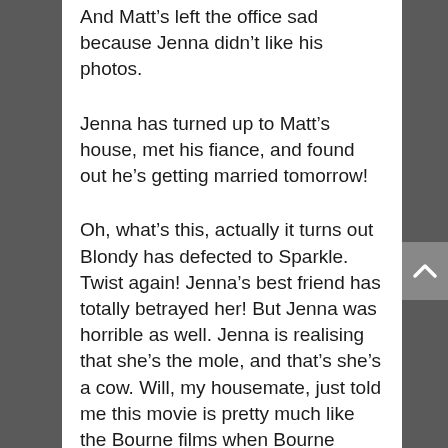And Matt's left the office sad because Jenna didn't like his photos.
Jenna has turned up to Matt's house, met his fiance, and found out he's getting married tomorrow!
Oh, what's this, actually it turns out Blondy has defected to Sparkle. Twist again! Jenna's best friend has totally betrayed her! But Jenna was horrible as well. Jenna is realising that she's the mole, and that's she's a cow. Will, my housemate, just told me this movie is pretty much like the Bourne films when Bourne learns about who he is. I think he's right.
Jenna, has decided to race over to Matt's house and win him back. Jenna, you so bad! Wrecking this poor, other girl's wedding!
She's arrived at Matt's house. She's walked into his